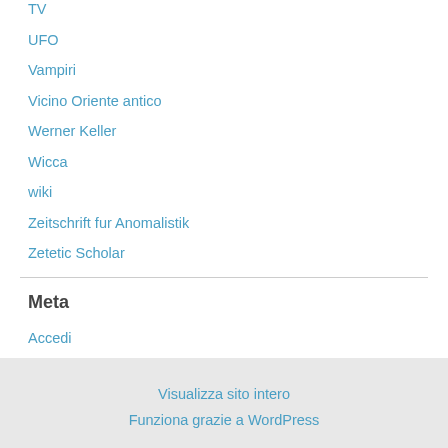TV
UFO
Vampiri
Vicino Oriente antico
Werner Keller
Wicca
wiki
Zeitschrift fur Anomalistik
Zetetic Scholar
Meta
Accedi
RSS degli articoli
RSS dei commenti
WordPress.org
Visualizza sito intero
Funziona grazie a WordPress